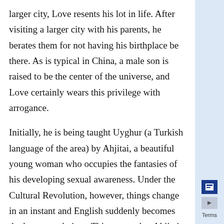larger city, Love resents his lot in life. After visiting a larger city with his parents, he berates them for not having his birthplace be there. As is typical in China, a male son is raised to be the center of the universe, and Love certainly wears this privilege with arrogance.
Initially, he is being taught Uyghur (a Turkish language of the area) by Ahjitai, a beautiful young woman who occupies the fantasies of his developing sexual awareness. Under the Cultural Revolution, however, things change in an instant and English suddenly becomes the language du jour. This means that Ahjitai will leave Love's life and be replaced by Second Prize Wang, an extremely poor substitute as far as Love can see.
Second Prize carries his own aura that enchants Love. He smells of a semi-feminine “cold cream,” dresses impeccably, and has two pairs of polished leather shoes.